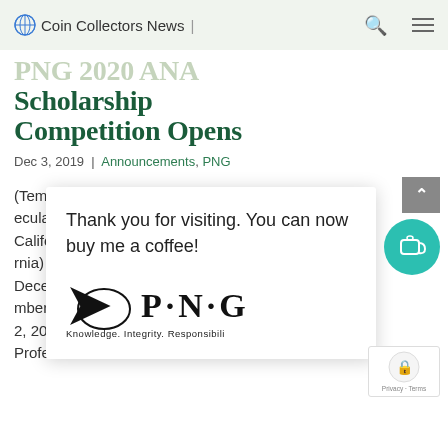Coin Collectors News
PNG 2020 ANA Scholarship Competition Opens
Dec 3, 2019 | Announcements, PNG
Thank you for visiting. You can now buy me a coffee!
[Figure (logo): PNG logo with tagline: Knowledge. Integrity. Responsibility.]
(Temecula, California) December 2, 2019 — The annual Professional